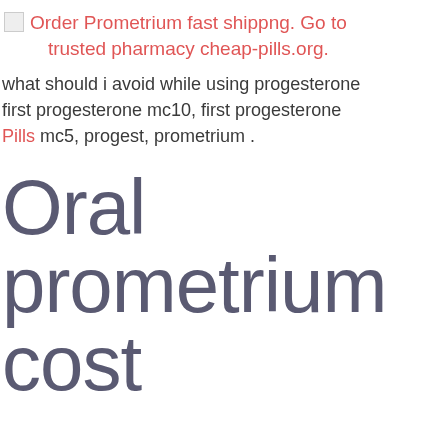Order Prometrium fast shippng. Go to trusted pharmacy cheap-pills.org.
what should i avoid while using progesterone first progesterone mc10, first progesterone Pills mc5, progest, prometrium .
Oral prometrium cost